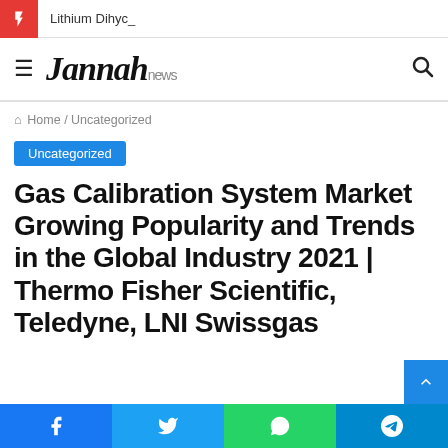Lithium Dihyc_
Jannah news
Home / Uncategorized
Uncategorized
Gas Calibration System Market Growing Popularity and Trends in the Global Industry 2021 | Thermo Fisher Scientific, Teledyne, LNI Swissgas